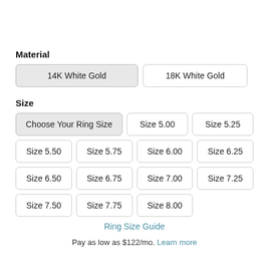Material
14K White Gold
18K White Gold
Size
Choose Your Ring Size
Size 5.00
Size 5.25
Size 5.50
Size 5.75
Size 6.00
Size 6.25
Size 6.50
Size 6.75
Size 7.00
Size 7.25
Size 7.50
Size 7.75
Size 8.00
Ring Size Guide
Pay as low as $122/mo. Learn more